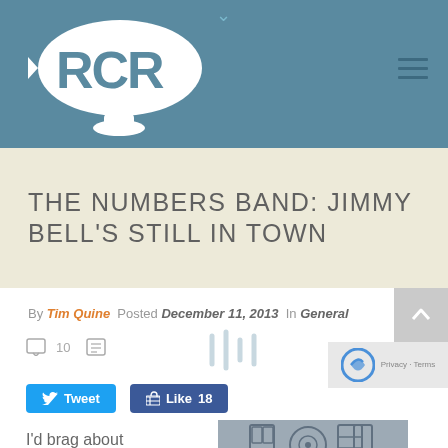[Figure (logo): RCR logo - fish/blimp shaped white ellipse with RCR letters on steel blue background]
THE NUMBERS BAND: JIMMY BELL'S STILL IN TOWN
By Tim Quine  Posted December 11, 2013  In General
10
[Figure (illustration): Audio waveform bars icon]
Tweet
Like 18
I'd brag about the music
[Figure (illustration): Album art thumbnail with geometric logo on grey background]